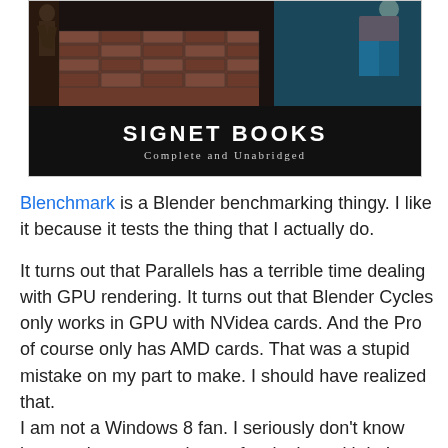[Figure (photo): Book cover bottom portion showing 'SIGNET BOOKS' in large white bold text and 'Complete and Unabridged' in smaller white italic text on a dark black band, with illustrated scene above showing figures and brickwork.]
Blenchmark is a Blender benchmarking thingy. I like it because it tests the thing that I actually do.
It turns out that Parallels has a terrible time dealing with GPU rendering. It turns out that Blender Cycles only works in GPU with NVidea cards. And the Pro of course only has AMD cards. That was a stupid mistake on my part to make. I should have realized that.
I am not a Windows 8 fan. I seriously don't know how you're supposed to surf web sites with it. I never did find Internet Explorer. I put in "www.chrome.com" in the address bar of Window Explorer just because I knew that by legacy that